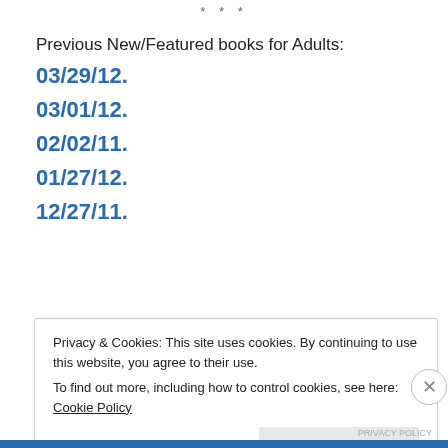* * *
Previous New/Featured books for Adults:
03/29/12.
03/01/12.
02/02/11.
01/27/12.
12/27/11.
Privacy & Cookies: This site uses cookies. By continuing to use this website, you agree to their use.
To find out more, including how to control cookies, see here: Cookie Policy
Close and accept